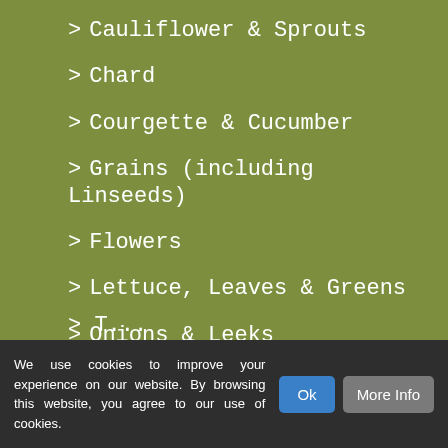> Cauliflower & Sprouts
> Chard
> Courgette & Cucumber
> Grains (including Linseeds)
> Flowers
> Lettuce, Leaves & Greens
> Onions & Leeks
> Peas
> Peppers & Tomatoes
> Pumpkins & Squash
We use cookies to improve your experience on our website. By browsing this website, you agree to our use of cookies.
Ok
More Info